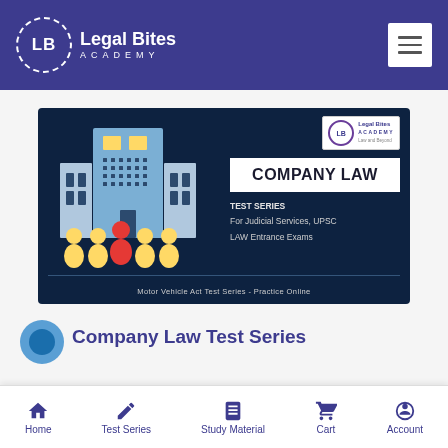Legal Bites Academy
[Figure (screenshot): Company Law Test Series banner for Legal Bites Academy showing a building illustration with people, COMPANY LAW title, TEST SERIES for Judicial Services UPSC LAW Entrance Exams, and Motor Vehicle Act Test Series - Practice Online text]
Company Law Test Series
Home | Test Series | Study Material | Cart | Account